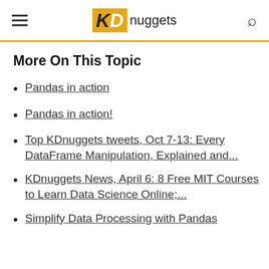KD nuggets
More On This Topic
Pandas in action
Pandas in action!
Top KDnuggets tweets, Oct 7-13: Every DataFrame Manipulation, Explained and...
KDnuggets News, April 6: 8 Free MIT Courses to Learn Data Science Online;...
Simplify Data Processing with Pandas